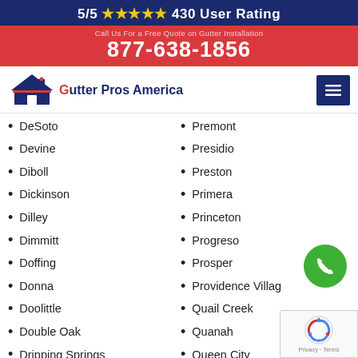5/5 ★★★★★ 430 User Rating
877-638-1856
[Figure (logo): Gutter Pros America logo with house icon]
DeSoto
Devine
Diboll
Dickinson
Dilley
Dimmitt
Doffing
Donna
Doolittle
Double Oak
Dripping Springs
Dublin
Dumas
Premont
Presidio
Preston
Primera
Princeton
Progreso
Prosper
Providence Village
Quail Creek
Quanah
Queen City
Quinlan
Quitman